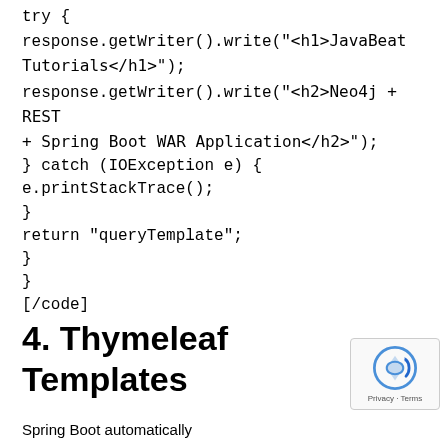try {
response.getWriter().write("<h1>JavaBeat Tutorials</h1>");
response.getWriter().write("<h2>Neo4j + REST + Spring Boot WAR Application</h2>");
} catch (IOException e) {
e.printStackTrace();
}
return "queryTemplate";
}
}
[/code]
4. Thymeleaf Templates
Spring Boot automatically